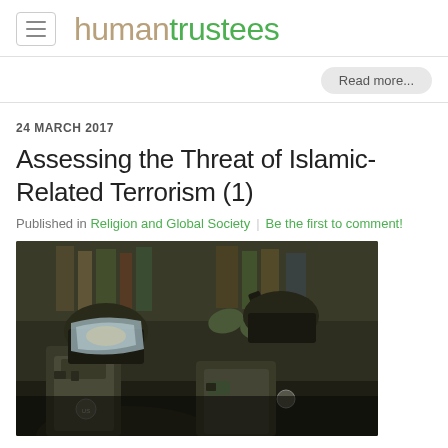human trustees
Read more...
24 MARCH 2017
Assessing the Threat of Islamic-Related Terrorism (1)
Published in Religion and Global Society | Be the first to comment!
[Figure (photo): Tactical police officers in riot gear and helmets with visors, holding weapons, in an indoor setting]